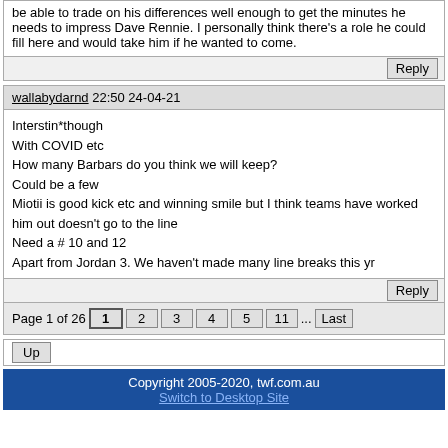be able to trade on his differences well enough to get the minutes he needs to impress Dave Rennie. I personally think there's a role he could fill here and would take him if he wanted to come.
wallabydarnd 22:50 24-04-21
Interstin*though
With COVID etc
How many Barbars do you think we will keep?
Could be a few
Miotii is good kick etc and winning smile but I think teams have worked him out doesn't go to the line
Need a # 10 and 12
Apart from Jordan 3. We haven't made many line breaks this yr
Page 1 of 26  1  2  3  4  5  11  ...  Last
Up
Copyright 2005-2020, twf.com.au
Switch to Desktop Site